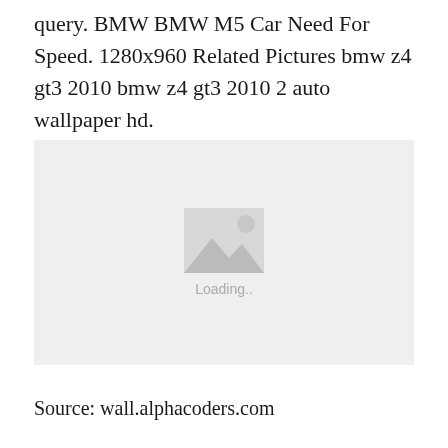query. BMW BMW M5 Car Need For Speed. 1280x960 Related Pictures bmw z4 gt3 2010 bmw z4 gt3 2010 2 auto wallpaper hd.
[Figure (photo): Image placeholder with loading icon and 'Loading..' text on a light grey background]
Source: wall.alphacoders.com